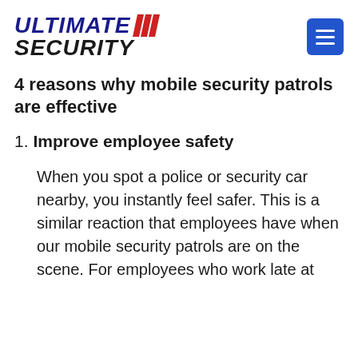[Figure (logo): Ultimate Security logo with italic bold text and red diagonal chevron stripes]
4 reasons why mobile security patrols are effective
1. Improve employee safety
When you spot a police or security car nearby, you instantly feel safer. This is a similar reaction that employees have when our mobile security patrols are on the scene. For employees who work late at night, or during the night shift, f…